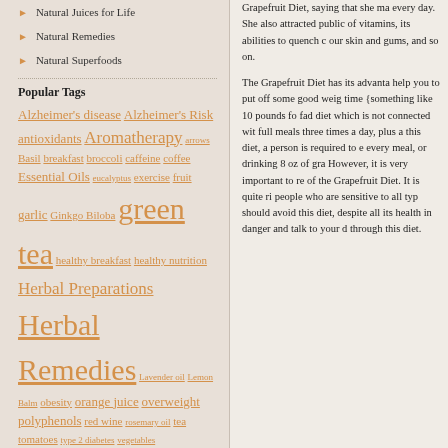Natural Juices for Life
Natural Remedies
Natural Superfoods
Popular Tags
Alzheimer's disease Alzheimer's Risk antioxidants Aromatherapy arrows Basil breakfast broccoli caffeine coffee Essential Oils eucalyptus exercise fruit garlic Ginkgo Biloba green tea healthy breakfast healthy nutrition Herbal Preparations Herbal Remedies Lavender oil Lemon Balm obesity orange juice overweight polyphenols red wine rosemary oil tea tomatoes type 2 diabetes vegetables weight loss weight management
Archives
Select Month
Grapefruit Diet, saying that she ma every day. She also attracted public of vitamins, its abilities to quench c our skin and gums, and so on.
The Grapefruit Diet has its advanta help you to put off some good weig time {something like 10 pounds fo fad diet which is not connected wit full meals three times a day, plus a this diet, a person is required to e every meal, or drinking 8 oz of gra However, it is very important to re of the Grapefruit Diet. It is quite ri people who are sensitive to all typ should avoid this diet, despite all its health in danger and talk to your d through this diet.